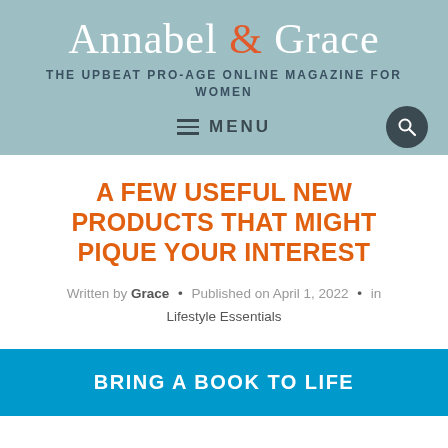Annabel & Grace — THE UPBEAT PRO-AGE ONLINE MAGAZINE FOR WOMEN
A FEW USEFUL NEW PRODUCTS THAT MIGHT PIQUE YOUR INTEREST
Written by Grace • Published on April 1, 2022 • in Lifestyle Essentials
[Figure (infographic): Blue banner with white bold text: BRING A BOOK TO LIFE]